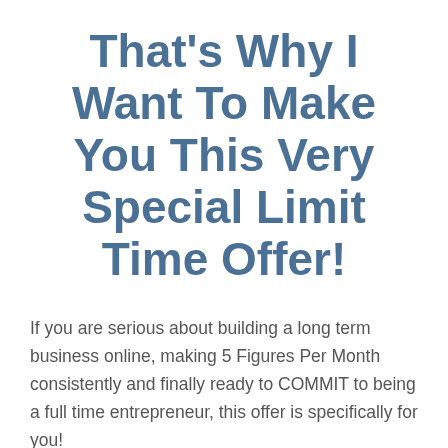That's Why I Want To Make You This Very Special Limit Time Offer!
If you are serious about building a long term business online, making 5 Figures Per Month consistently and finally ready to COMMIT to being a full time entrepreneur, this offer is specifically for you!